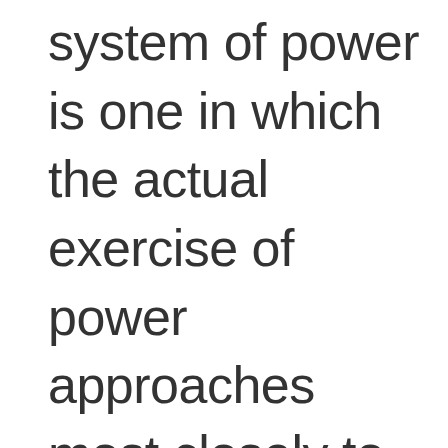system of power is one in which the actual exercise of power approaches most closely to invisibility. The